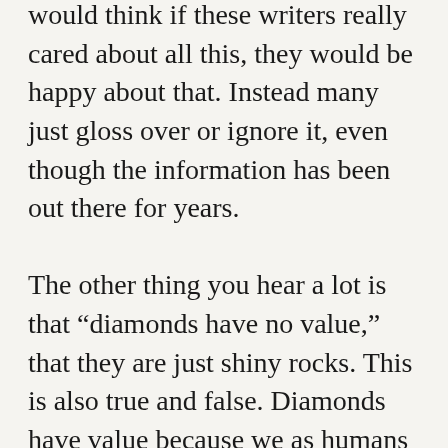would think if these writers really cared about all this, they would be happy about that. Instead many just gloss over or ignore it, even though the information has been out there for years.

The other thing you hear a lot is that “diamonds have no value,” that they are just shiny rocks. This is also true and false. Diamonds have value because we as humans give them value. Just like we do for an Andy Warhol print—which, after all, is just paint on a canvas, with no practical use. Or a piece of paper with Beatles lyrics on it. Or a gold bar, Rolex watch, Louis Vuitton handbag, or iPod. Marketing played a huge role in fueling desire for diamonds and diamond